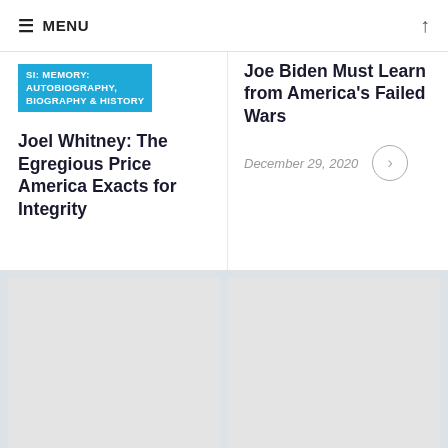☰ MENU
SI: MEMORY: AUTOBIOGRAPHY, BIOGRAPHY & HISTORY
Joel Whitney: The Egregious Price America Exacts for Integrity
Joe Biden Must Learn from America's Failed Wars
December 29, 2020
[Figure (photo): Article thumbnail image placeholder (gray)]
TOM ENGELHARDT
WILLIAM ASTORE
[Figure (photo): Article thumbnail image placeholder (gray)]
ESSAY  EUNICE WONG